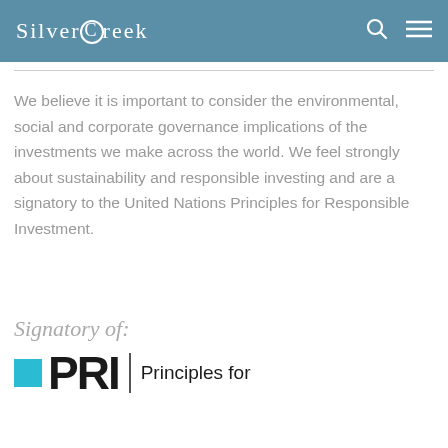SilverCreek
We believe it is important to consider the environmental, social and corporate governance implications of the investments we make across the world. We feel strongly about sustainability and responsible investing and are a signatory to the United Nations Principles for Responsible Investment.
Signatory of:
[Figure (logo): PRI – Principles for Responsible Investment logo with blue square, bold PRI letters, vertical divider, and text 'Principles for']